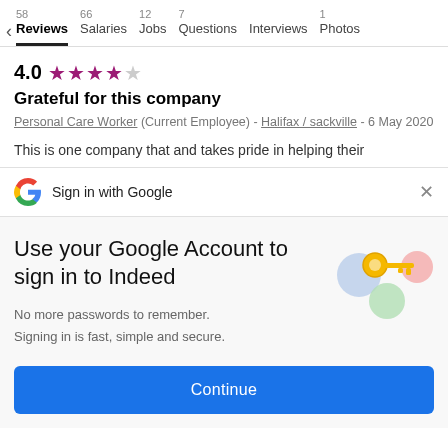58 Reviews | 66 Salaries | 12 Jobs | 7 Questions | Interviews | 1 Photos
4.0 ★★★★☆
Grateful for this company
Personal Care Worker (Current Employee) - Halifax / sackville - 6 May 2020
This is one company that and takes pride in helping their
Sign in with Google  ×
Use your Google Account to sign in to Indeed
No more passwords to remember.
Signing in is fast, simple and secure.
Continue